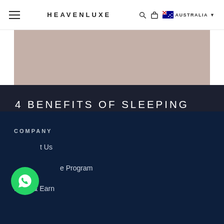HEAVENLUXE — AUSTRALIA
[Figure (photo): Beige/taupe hero image banner area]
4 BENEFITS OF SLEEPING NAKED & BEST SHEETS FOR NAKED SLEEPERS
COMPANY
About Us
Affiliate Program
Refer & Earn